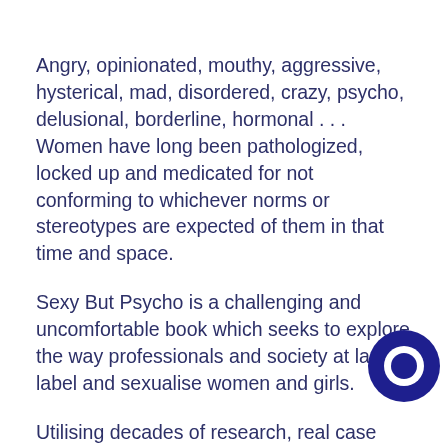Angry, opinionated, mouthy, aggressive, hysterical, mad, disordered, crazy, psycho, delusional, borderline, hormonal . . . Women have long been pathologized, locked up and medicated for not conforming to whichever norms or stereotypes are expected of them in that time and space.
Sexy But Psycho is a challenging and uncomfortable book which seeks to explore the way professionals and society at large label and sexualise women and girls.
Utilising decades of research, real case studies and new data from her own work, Dr Taylor's book will critically analyse the way we label women with personality disorders.
Why are women and girls pathologized for being angry about oppression and abuse? How have so many women been duped
[Figure (logo): Dark blue circular logo with a white ring/donut shape inside]